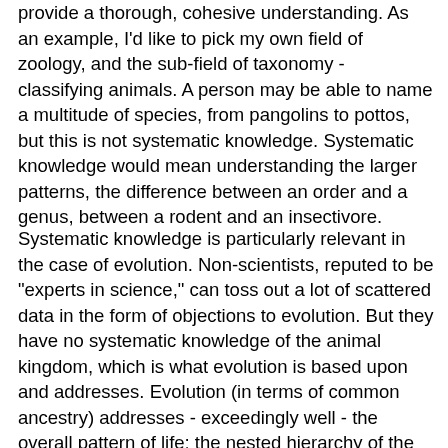provide a thorough, cohesive understanding. As an example, I'd like to pick my own field of zoology, and the sub-field of taxonomy - classifying animals. A person may be able to name a multitude of species, from pangolins to pottos, but this is not systematic knowledge. Systematic knowledge would mean understanding the larger patterns, the difference between an order and a genus, between a rodent and an insectivore.
Systematic knowledge is particularly relevant in the case of evolution. Non-scientists, reputed to be "experts in science," can toss out a lot of scattered data in the form of objections to evolution. But they have no systematic knowledge of the animal kingdom, which is what evolution is based upon and addresses. Evolution (in terms of common ancestry) addresses - exceedingly well - the overall pattern of life; the nested hierarchy of the animal kingdom, the geographical distribution, the fossil record, the patterns of homologous versus analogous similarities in physiology. Not only do these people have no overall model to address any of these; they've never even addressed them at all. Their knowledge is scattered, not systematic.